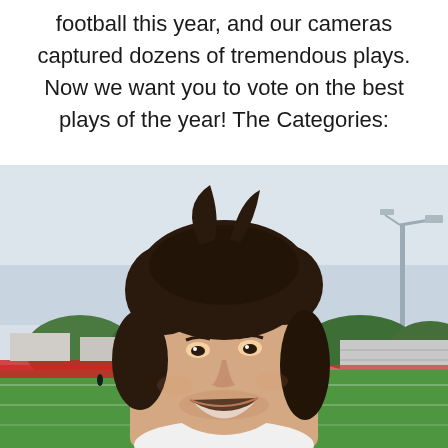football this year, and our cameras captured dozens of tremendous plays. Now we want you to vote on the best plays of the year! The Categories:
[Figure (photo): A smiling young male athlete with curly dark hair standing on a football field. He is wearing a white shirt. In the background there is a green football field with players, bleachers, trees, and stadium lights visible.]